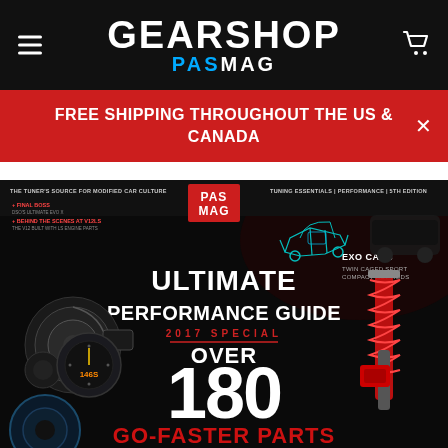GEARSHOP PASMAG
FREE SHIPPING THROUGHOUT THE US & CANADA
[Figure (photo): PASMAG Tuning Essentials Ultimate Performance Guide 2017 Special magazine cover featuring turbo, gauges, coilovers, exo cars, and text 'OVER 180 GO-FASTER PARTS']